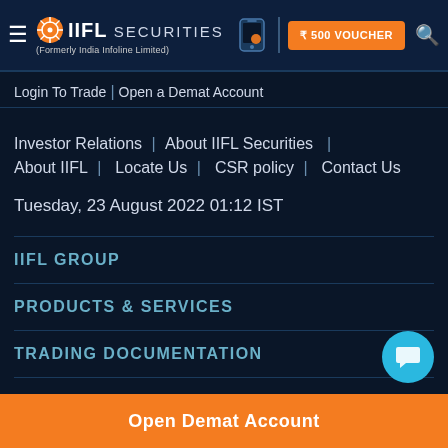IIFL Securities (Formerly India Infoline Limited) | ₹500 VOUCHER
Login To Trade | Open a Demat Account
Investor Relations | About IIFL Securities | About IIFL | Locate Us | CSR policy | Contact Us
Tuesday, 23 August 2022 01:12 IST
IIFL GROUP
PRODUCTS & SERVICES
TRADING DOCUMENTATION
CALCULATORS
USEFUL LINKS
Open Demat Account